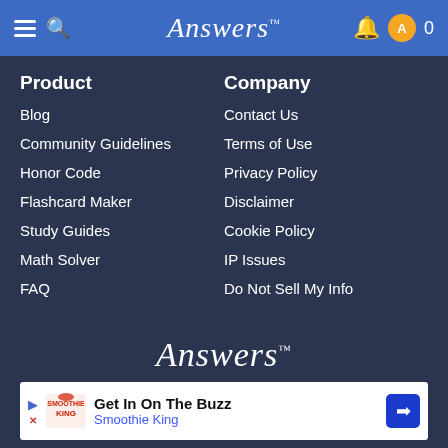Answers
Product
Blog
Community Guidelines
Honor Code
Flashcard Maker
Study Guides
Math Solver
FAQ
Company
Contact Us
Terms of Use
Privacy Policy
Disclaimer
Cookie Policy
IP Issues
Do Not Sell My Info
[Figure (logo): Answers logo in white italic serif font on dark blue background]
Get In On The Buzz
Smoothie King